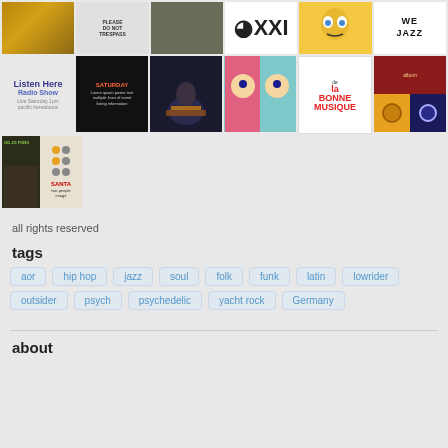[Figure (photo): Grid of thumbnail images - row 1: landscape photo, sign photo, person photo, circular logo, cartoon face, WE JAZZ text logo]
[Figure (photo): Grid of thumbnail images - row 2: Listen Here Radio Show logo, dark text poster, DJ photo, pop art face, de la Bonne Musique logo, album covers]
[Figure (photo): Single thumbnail - partial row 3: album cover with Santa text]
all rights reserved
tags
aor
hip hop
jazz
soul
folk
funk
latin
lowrider
outsider
psych
psychedelic
yacht rock
Germany
about